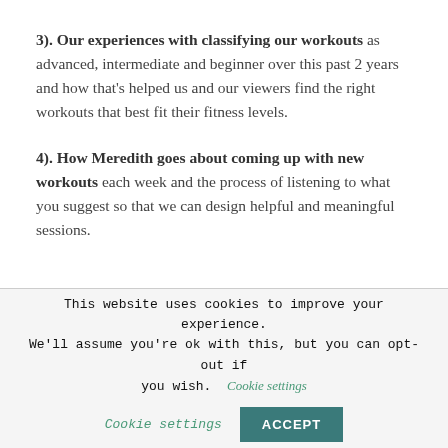3). Our experiences with classifying our workouts as advanced, intermediate and beginner over this past 2 years and how that's helped us and our viewers find the right workouts that best fit their fitness levels.
4). How Meredith goes about coming up with new workouts each week and the process of listening to what you suggest so that we can design helpful and meaningful sessions.
This website uses cookies to improve your experience. We'll assume you're ok with this, but you can opt-out if you wish. Cookie settings ACCEPT